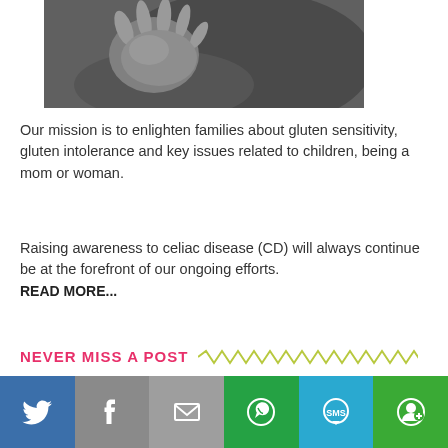[Figure (photo): Black and white close-up photo of a baby's hand being held by an adult hand]
Our mission is to enlighten families about gluten sensitivity, gluten intolerance and key issues related to children, being a mom or woman.
Raising awareness to celiac disease (CD) will always continue be at the forefront of our ongoing efforts. READ MORE...
NEVER MISS A POST
Subscribe to receive new blog posts straight to your inbox...